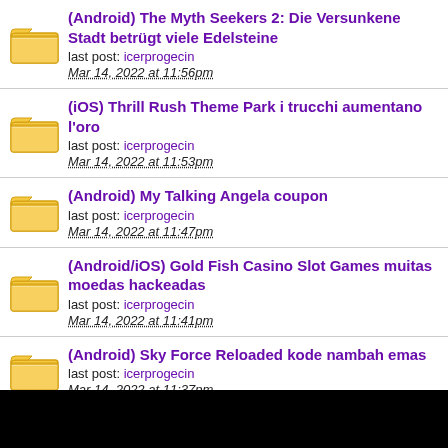(Android) The Myth Seekers 2: Die Versunkene Stadt betrügt viele Edelsteine | last post: icerprogecin | Mar 14, 2022 at 11:56pm
(iOS) Thrill Rush Theme Park i trucchi aumentano l'oro | last post: icerprogecin | Mar 14, 2022 at 11:53pm
(Android) My Talking Angela coupon | last post: icerprogecin | Mar 14, 2022 at 11:47pm
(Android/iOS) Gold Fish Casino Slot Games muitas moedas hackeadas | last post: icerprogecin | Mar 14, 2022 at 11:41pm
(Android) Sky Force Reloaded kode nambah emas | last post: icerprogecin | Mar 14, 2022 at 11:37pm
(Android/iOS) Roulette VIP - Casino Vegas: Spin lucky wheel krānias glitch izturību